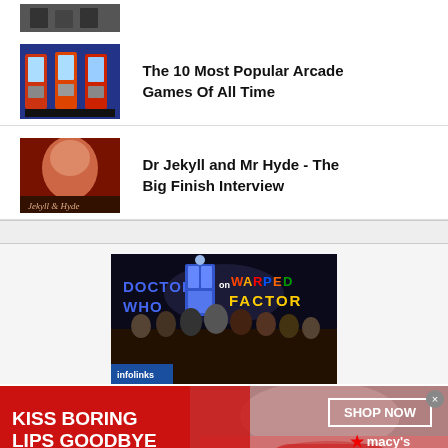[Figure (photo): Partial thumbnail image at top, cut off]
[Figure (photo): Thumbnail of arcade game machines]
The 10 Most Popular Arcade Games Of All Time
[Figure (photo): Thumbnail of Dr Jekyll and Mr Hyde artwork]
Dr Jekyll and Mr Hyde - The Big Finish Interview
[Figure (photo): Doctor Who on Warped Factor promotional image with cast]
[Figure (photo): Macy's advertisement: KISS BORING LIPS GOODBYE, SHOP NOW]
infolinks